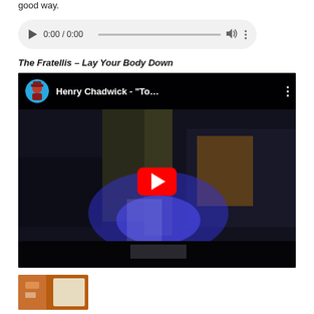good way.
[Figure (screenshot): Audio player widget showing 0:00 / 0:00 with play button, progress bar, volume and more options icons on a light grey pill-shaped background.]
The Fratellis – Lay Your Body Down
[Figure (screenshot): YouTube video embed thumbnail showing Henry Chadwick - 'To...' with channel avatar, dark scene with blue glow lighting, and red YouTube play button in the center.]
[Figure (screenshot): Small thumbnail image strip at the bottom of the page, partially visible.]